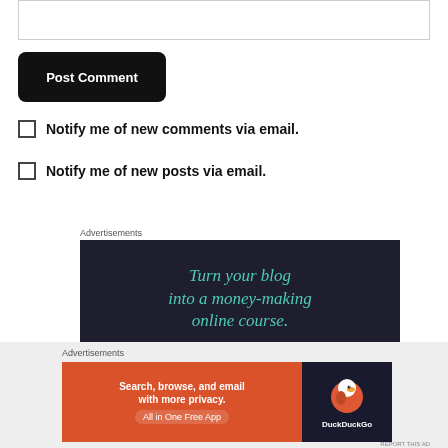[Figure (screenshot): Text input box / textarea at top of page]
Post Comment
Notify me of new comments via email.
Notify me of new posts via email.
Advertisements
[Figure (infographic): Advertisement banner with dark background and teal text reading: Turn your blog into a money-making online course.]
[Figure (screenshot): Close/dismiss button (X in circle)]
Advertisements
[Figure (infographic): DuckDuckGo advertisement: Search, browse, and email with more privacy. All in One Free App. Orange left side with DuckDuckGo duck logo on dark right side.]